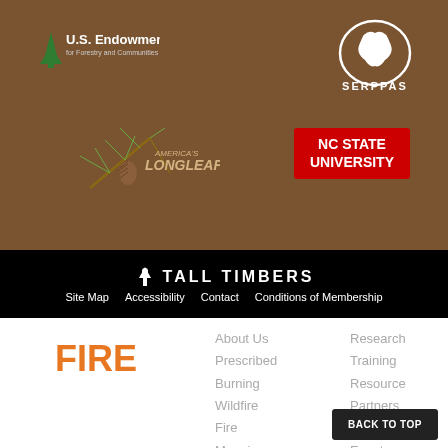[Figure (logo): U.S. Endowment for Forestry and Communities logo]
[Figure (logo): SERPPAS logo with bear silhouette]
[Figure (logo): America's Longleaf logo with pine branch]
[Figure (logo): NC State University logo red box]
[Figure (logo): Tall Timbers logo with tree icon]
Site Map   Accessibility   Contact   Conditions of Membership
FIRE
About Us
Prescribed
Burning
Wildfire
Fire
Mapping
Policie
Research
Training
Resource
Partners
News and
Events
BACK TO TOP